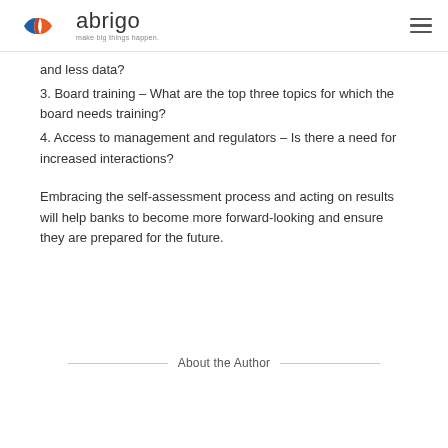abrigo — make big things happen.
and less data?
3. Board training – What are the top three topics for which the board needs training?
4. Access to management and regulators – Is there a need for increased interactions?
Embracing the self-assessment process and acting on results will help banks to become more forward-looking and ensure they are prepared for the future.
About the Author